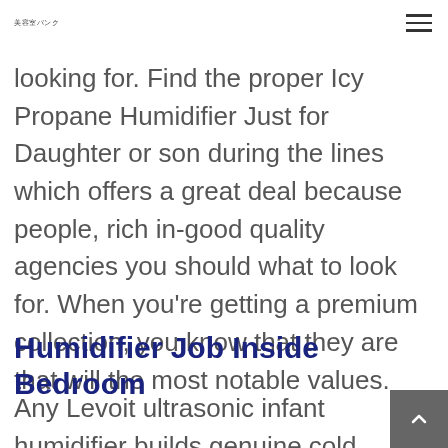美容室バンク
looking for. Find the proper Icy Propane Humidifier Just for Daughter or son during the lines which offers a great deal because people, rich in-good quality agencies you should what to look for. When you're getting a premium collection, you know that they are that will the most notable values.
Humidifier Job Inside Bedroom
Any Levoit ultrasonic infant humidifier builds genuine cold sky that would be t